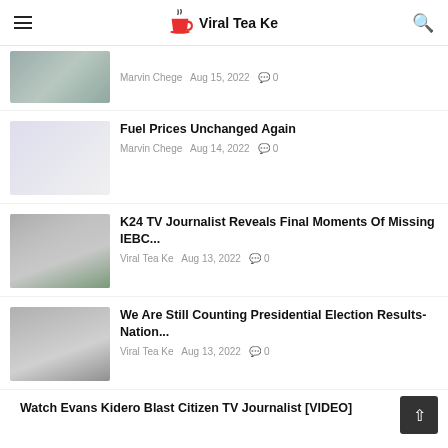Viral Tea Ke
Marvin Chege  Aug 15, 2022  0
Fuel Prices Unchanged Again
Marvin Chege  Aug 14, 2022  0
K24 TV Journalist Reveals Final Moments Of Missing IEBC...
Viral Tea Ke  Aug 13, 2022  0
We Are Still Counting Presidential Election Results- Nation...
Viral Tea Ke  Aug 13, 2022  0
Watch Evans Kidero Blast Citizen TV Journalist [VIDEO]